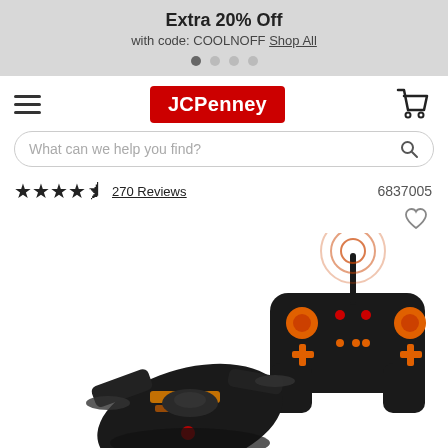Extra 20% Off
with code: COOLNOFF Shop All
[Figure (logo): JCPenney navigation bar with hamburger menu, JCPenney red logo, and shopping cart icon]
What can we help you find?
★★★★☆ 270 Reviews   6837005
[Figure (photo): RC drone/quad with black and orange design shown with its remote controller, which has orange buttons and controls on a black body with an antenna showing wireless signal waves.]